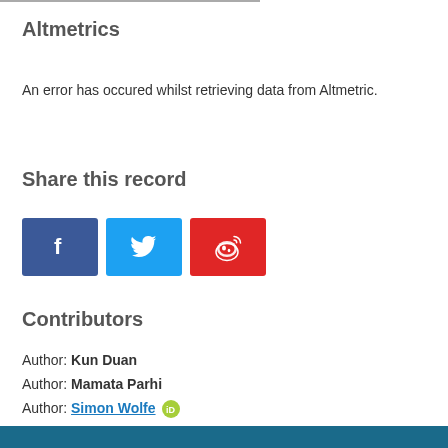Altmetrics
An error has occured whilst retrieving data from Altmetric.
Share this record
[Figure (other): Social sharing buttons: Facebook (blue), Twitter (light blue), Weibo (red)]
Contributors
Author: Kun Duan
Author: Mamata Parhi
Author: Simon Wolfe